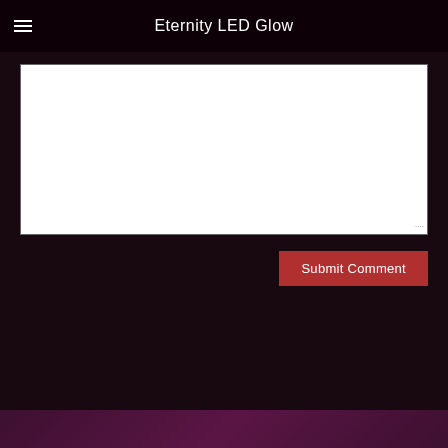Eternity LED Glow
[Figure (screenshot): White textarea comment input box with resize handle at bottom-right corner]
Submit Comment